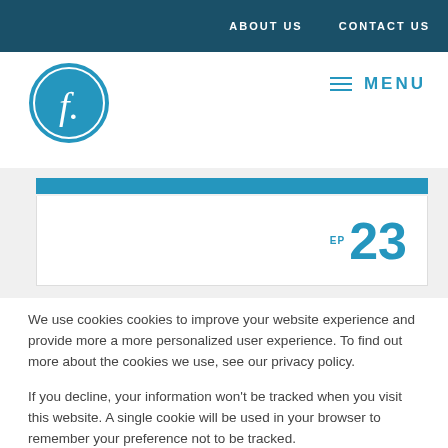ABOUT US   CONTACT US
[Figure (logo): Circular logo with stylized italic 'f.' in white on teal/blue background]
≡ MENU
EP 23
We use cookies cookies to improve your website experience and provide more a more personalized user experience. To find out more about the cookies we use, see our privacy policy.
If you decline, your information won't be tracked when you visit this website. A single cookie will be used in your browser to remember your preference not to be tracked.
Accept   Decline